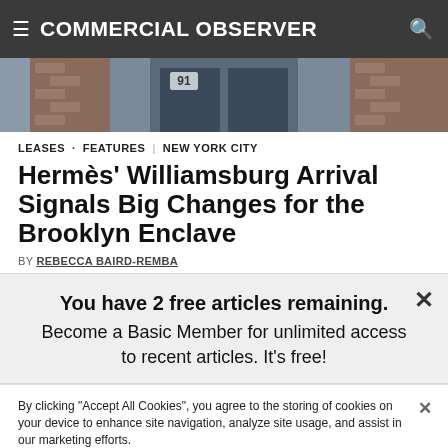COMMERCIAL OBSERVER
[Figure (photo): Exterior photo of a building, showing brick facade and glass entrance with number 91 visible]
LEASES · FEATURES | NEW YORK CITY
Hermès' Williamsburg Arrival Signals Big Changes for the Brooklyn Enclave
BY REBECCA BAIRD-REMBA
You have 2 free articles remaining. Become a Basic Member for unlimited access to recent articles. It's free!
By clicking "Accept All Cookies", you agree to the storing of cookies on your device to enhance site navigation, analyze site usage, and assist in our marketing efforts.
Cookies Settings
Accept All Cookies